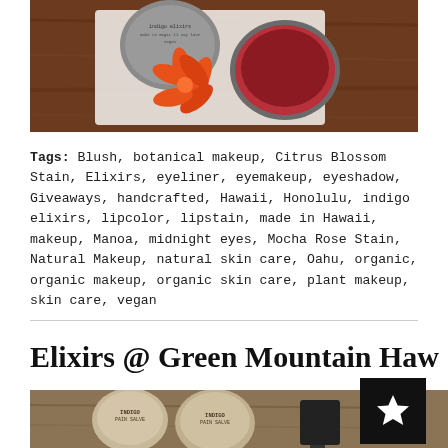[Figure (photo): Overhead photo of indigo elixirs lip stain tins on a white cloth with an orange flower, on a wooden table]
Tags: Blush, botanical makeup, Citrus Blossom Stain, Elixirs, eyeliner, eyemakeup, eyeshadow, Giveaways, handcrafted, Hawaii, Honolulu, indigo elixirs, lipcolor, lipstain, made in Hawaii, makeup, Manoa, midnight eyes, Mocha Rose Stain, Natural Makeup, natural skin care, Oahu, organic, organic makeup, organic skin care, plant makeup, skin care, vegan
Elixirs @ Green Mountain Haw...
[Figure (photo): Photo of natural product tins labeled Pain Salve and other items on a wooden surface]